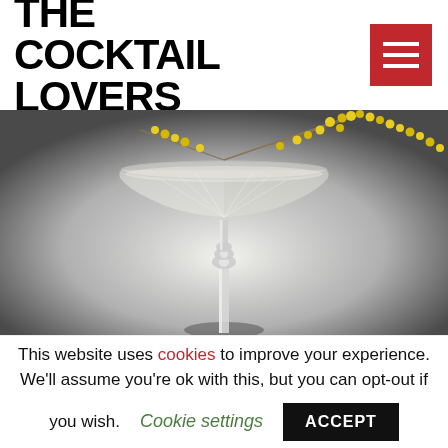THE COCKTAIL LOVERS
[Figure (photo): A crystal martini/coupe glass with a tall ornate stem against a grey gradient background, with yellow mimosa flower sprigs placed above the glass.]
A toast to the Valkyries on
This website uses cookies to improve your experience. We'll assume you're ok with this, but you can opt-out if you wish. Cookie settings ACCEPT